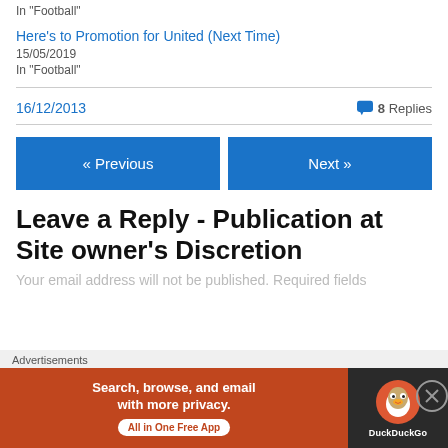In "Football"
Here's to Promotion for United (Next Time)
15/05/2019
In "Football"
16/12/2013
8 Replies
« Previous
Next »
Leave a Reply - Publication at Site owner's Discretion
Your email address will not be published. Required fields
Advertisements
[Figure (screenshot): DuckDuckGo advertisement banner: Search, browse, and email with more privacy. All in One Free App.]